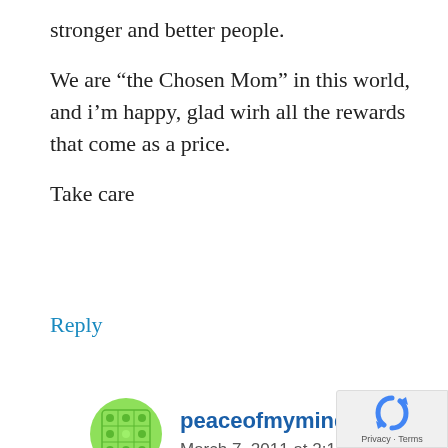stronger and better people.
We are “the Chosen Mom” in this world, and i’m happy, glad wirh all the rewards that come as a price.
Take care
Reply
peaceofmymindparent
March 7, 2011 at 2:16 pm
“It takes difficulties to make us stronger and better people” has become my life’s lesson